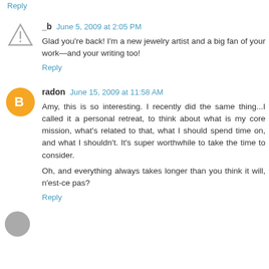Reply
_b  June 5, 2009 at 2:05 PM
Glad you're back! I'm a new jewelry artist and a big fan of your work—and your writing too!
Reply
radon  June 15, 2009 at 11:58 AM
Amy, this is so interesting. I recently did the same thing...I called it a personal retreat, to think about what is my core mission, what's related to that, what I should spend time on, and what I shouldn't. It's super worthwhile to take the time to consider.

Oh, and everything always takes longer than you think it will, n'est-ce pas?
Reply